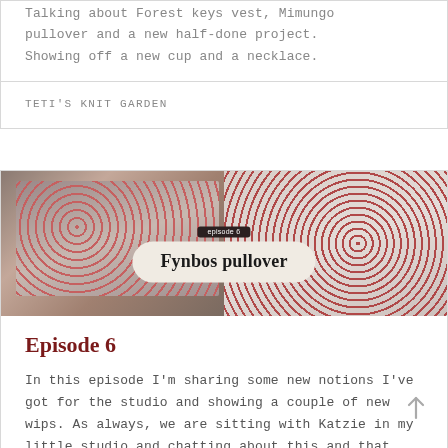Talking about Forest keys vest, Mimungo pullover and a new half-done project. Showing off a new cup and a necklace.
TETI'S KNIT GARDEN
[Figure (photo): Thumbnail image showing a person wearing a knitted Fynbos pullover with red and grey yoke pattern, with a close-up of the knitting texture on the right. Overlaid pill-shaped label reading 'episode 6' and 'Fynbos pullover'.]
Episode 6
In this episode I'm sharing some new notions I've got for the studio and showing a couple of new wips. As always, we are sitting with Katzie in my little studio and chatting about this and that.